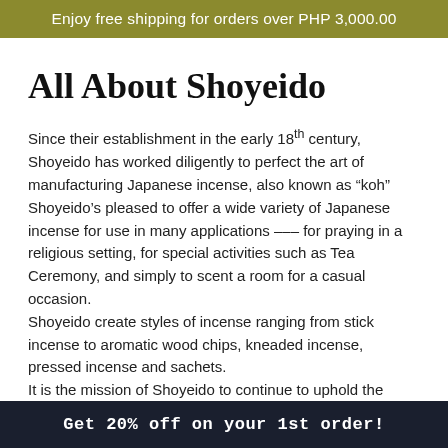Enjoy free shipping for orders over PHP 3,000.00
All About Shoyeido
Since their establishment in the early 18th century, Shoyeido has worked diligently to perfect the art of manufacturing Japanese incense, also known as “koh”
Shoyeido's pleased to offer a wide variety of Japanese incense for use in many applications --- for praying in a religious setting, for special activities such as Tea Ceremony, and simply to scent a room for a casual occasion.
Shoyeido create styles of incense ranging from stick incense to aromatic wood chips, kneaded incense, pressed incense and sachets.
It is the mission of Shoyeido to continue to uphold the traditions...
Get 20% off on your 1st order!